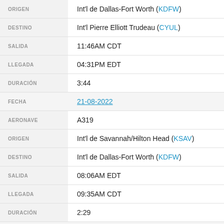| Campo | Valor |
| --- | --- |
| ORIGEN | Int'l de Dallas-Fort Worth (KDFW) |
| DESTINO | Int'l Pierre Elliott Trudeau (CYUL) |
| SALIDA | 11:46AM CDT |
| LLEGADA | 04:31PM EDT |
| DURACIÓN | 3:44 |
| FECHA | 21-08-2022 |
| AERONAVE | A319 |
| ORIGEN | Int'l de Savannah/Hilton Head (KSAV) |
| DESTINO | Int'l de Dallas-Fort Worth (KDFW) |
| SALIDA | 08:06AM EDT |
| LLEGADA | 09:35AM CDT |
| DURACIÓN | 2:29 |
| FECHA | 20-08-2022 |
| AERONAVE | A319 |
| ORIGEN | Int'l de Dallas-Fort Worth (KDFW) |
| DESTINO | Int'l de Savannah/Hilton Head (KSAV) |
| SALIDA | 07:24PM CDT |